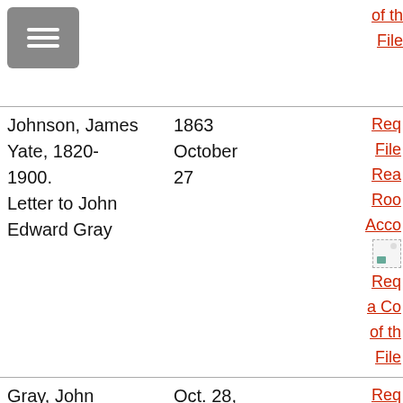[Figure (screenshot): Gray hamburger menu button icon]
of th
File
| Author | Date | Actions |
| --- | --- | --- |
| Johnson, James Yate, 1820-1900. Letter to John Edward Gray | 1863 October 27 | Req File Rea Roo Acc [img] Req a Co of th File |
| Gray, John Edward, 1800-1875. | Oct. 28, 1863 | Req File Rea |